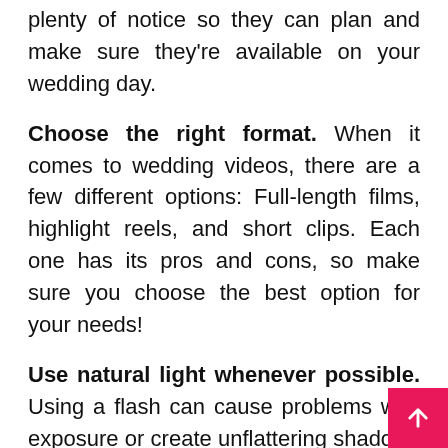plenty of notice so they can plan and make sure they're available on your wedding day.
Choose the right format. When it comes to wedding videos, there are a few different options: Full-length films, highlight reels, and short clips. Each one has its pros and cons, so make sure you choose the best option for your needs!
Use natural light whenever possible. Using a flash can cause problems with exposure or create unflattering shadows on people's faces (especially if they're in front of windows).
Wrapping Up
Wedding videography can be a great way to preserve all the memories of your big day. B